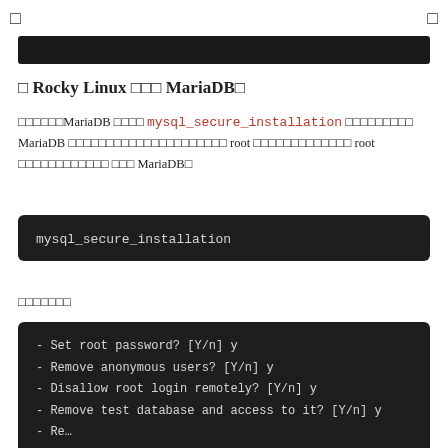□  □
[Figure (screenshot): Dark/black terminal or code block strip at top of content area]
□ Rocky Linux □□□ MariaDB□
□□□□□□MariaDB □□□□ mysql_secure_installation □□□□□□□□□ MariaDB □□□□□□□□□□□□□□□□□□□□□ root □□□□□□□□□□□□□ root □□□□□□□□□□□□ □□□ MariaDB□
mysql_secure_installation
□□□□□□□
- Set root password? [Y/n] y
- Remove anonymous users? [Y/n] y
- Disallow root login remotely? [Y/n] y
- Remove test database and access to it? [Y/n] y